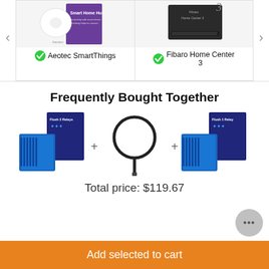[Figure (screenshot): Top carousel showing two smart home hub products: Aeotec SmartThings (left) with checkmark, and Fibaro Home Center 3 (right) with checkmark. Navigation arrows on sides.]
Aeotec SmartThings
Fibaro Home Center 3
Frequently Bought Together
[Figure (photo): Three product images shown as frequently bought together: Fibaro Flush 2 Relays (left), a temperature sensor probe with cable (center), and Fibaro Flush 1 Relay (right), connected by plus signs.]
Total price: $119.67
Add selected to cart